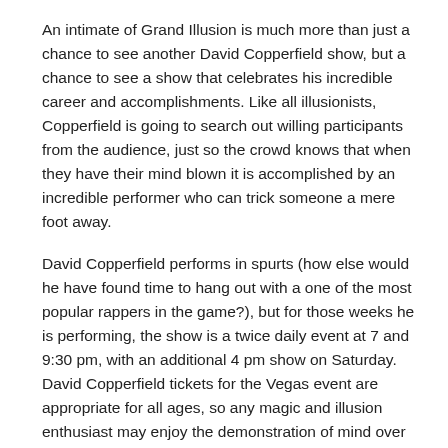An intimate of Grand Illusion is much more than just a chance to see another David Copperfield show, but a chance to see a show that celebrates his incredible career and accomplishments. Like all illusionists, Copperfield is going to search out willing participants from the audience, just so the crowd knows that when they have their mind blown it is accomplished by an incredible performer who can trick someone a mere foot away.
David Copperfield performs in spurts (how else would he have found time to hang out with a one of the most popular rappers in the game?), but for those weeks he is performing, the show is a twice daily event at 7 and 9:30 pm, with an additional 4 pm show on Saturday. David Copperfield tickets for the Vegas event are appropriate for all ages, so any magic and illusion enthusiast may enjoy the demonstration of mind over reality (or at least perception).